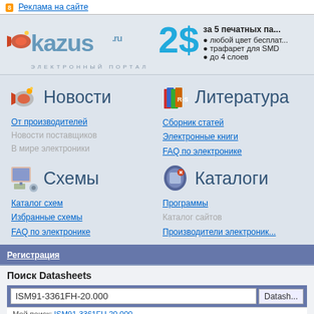Реклама на сайте
[Figure (logo): Kazus.ru электронный портал logo with megaphone icon]
[Figure (infographic): Advertisement: 2$ за 5 печатных па... with bullet points: любой цвет бесплат..., трафарет для SMD, до 4 слоев]
Новости
От производителей
Новости поставщиков
В мире электроники
Литература
Сборник статей
Электронные книги
FAQ по электронике
Схемы
Каталог схем
Избранные схемы
FAQ по электронике
Каталоги
Программы
Каталог сайтов
Производители электроник...
Регистрация
Поиск Datasheets
ISM91-3361FH-20.000
Мой поиск: ISM91-3361FH-20.000